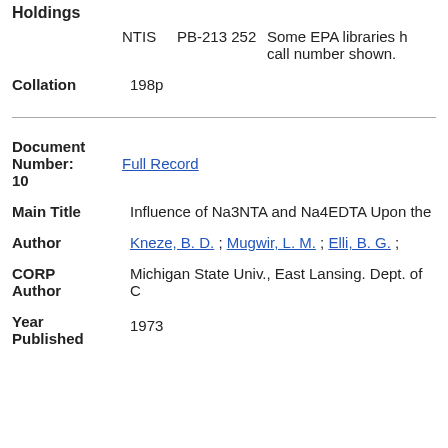Holdings
NTIS    PB-213 252    Some EPA libraries h... call number shown.
Collation    198p
Document
Number:
10
Full Record
Main Title    Influence of Na3NTA and Na4EDTA Upon the...
Author    Kneze, B. D. ; Mugwir, L. M. ; Elli, B. G. ;
CORP Author    Michigan State Univ., East Lansing. Dept. of C...
Year Published    1973